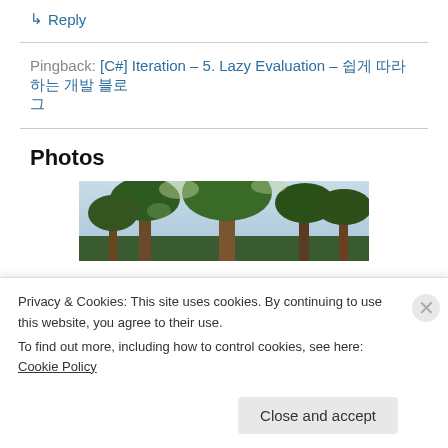↳ Reply
Pingback: [C#] Iteration – 5. Lazy Evaluation – 쉽게 따라 하는 개발 블로그
Photos
[Figure (photo): Outdoor photo showing trees with green foliage and branches against a bright sky]
Privacy & Cookies: This site uses cookies. By continuing to use this website, you agree to their use.
To find out more, including how to control cookies, see here: Cookie Policy
Close and accept